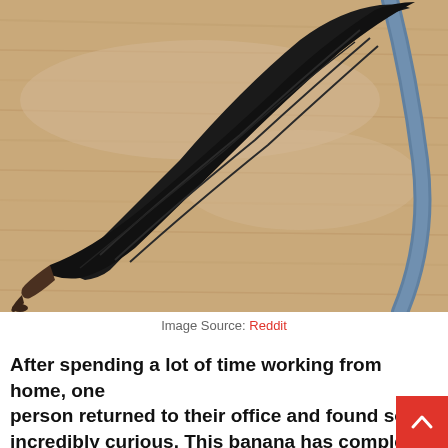[Figure (photo): A very old, completely blackened/dried banana lying on a light wood-grain desk surface, with a blue cable visible on the right edge. The banana has turned entirely black and shriveled.]
Image Source: Reddit
After spending a lot of time working from home, one person returned to their office and found somet incredibly curious. This banana has completely dried